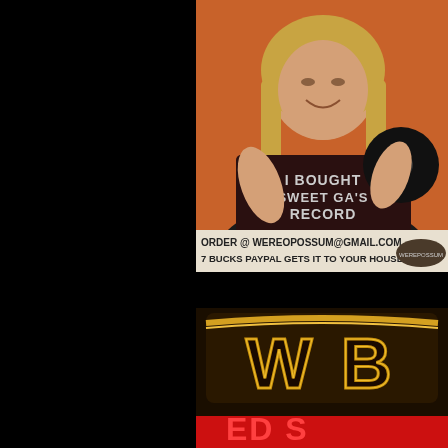[Figure (photo): A person with long blonde hair wearing a dark t-shirt that reads 'I BOUGHT SWEET GA'S RECORD' holding a vinyl record. Below the image is text reading 'ORDER @ WEREOPOSSUM@GMAIL.COM 7 BUCKS PAYPAL GETS IT TO YOUR HOUSE!' with a logo.]
[Figure (photo): Close-up photo of a metallic embossed logo or badge showing 'WB' letters in gold/black tones with red text partially visible at the bottom reading 'ED S...' suggesting a record label or brand logo.]